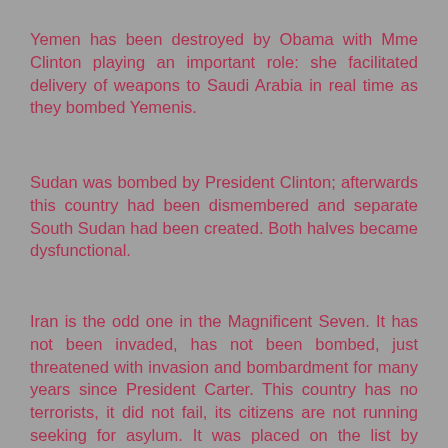Yemen has been destroyed by Obama with Mme Clinton playing an important role: she facilitated delivery of weapons to Saudi Arabia in real time as they bombed Yemenis.
Sudan was bombed by President Clinton; afterwards this country had been dismembered and separate South Sudan had been created. Both halves became dysfunctional.
Iran is the odd one in the Magnificent Seven. It has not been invaded, has not been bombed, just threatened with invasion and bombardment for many years since President Carter. This country has no terrorists, it did not fail, its citizens are not running seeking for asylum. It was placed on the list by President Obama, who planned to bomb it, but never got to do it.